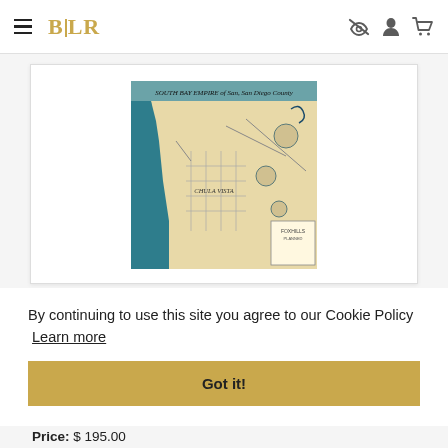BLR
[Figure (map): South Bay Empire of San Diego County — vintage illustrated map with teal/blue bay and land areas, grid streets, illustrated figures and landmarks]
By continuing to use this site you agree to our Cookie Policy  Learn more
Got it!
Price: $ 195.00